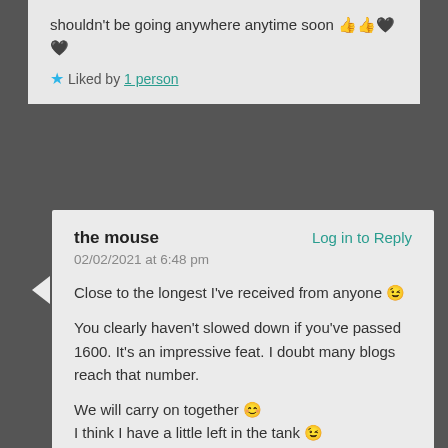shouldn't be going anywhere anytime soon 👍👍🖤🖤
★ Liked by 1 person
the mouse   Log in to Reply
02/02/2021 at 6:48 pm

Close to the longest I've received from anyone 😉

You clearly haven't slowed down if you've passed 1600. It's an impressive feat. I doubt many blogs reach that number.

We will carry on together 😊
I think I have a little left in the tank 😉

Either way I'm sure I'll be here to 2000 👍👍💚💚